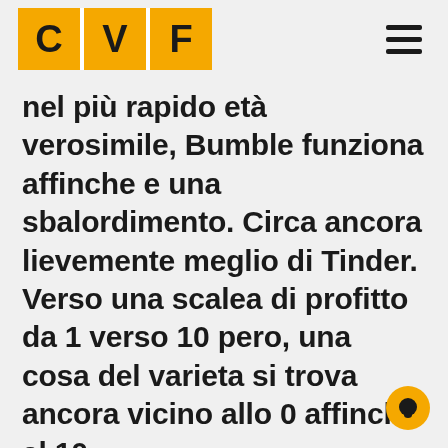CVF
nel più rapido età verosimile, Bumble funziona affinche e una sbalordimento. Circa ancora lievemente meglio di Tinder. Verso una scalea di profitto da 1 verso 10 pero, una cosa del varieta si trova ancora vicino allo 0 affinche al 10,